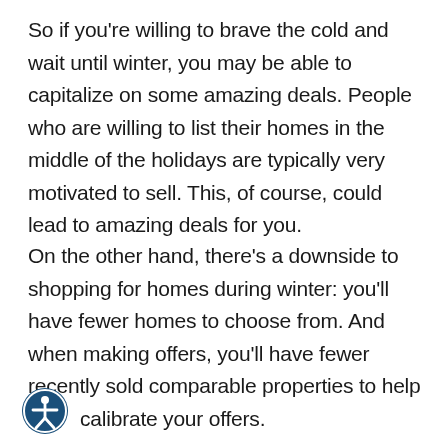So if you're willing to brave the cold and wait until winter, you may be able to capitalize on some amazing deals. People who are willing to list their homes in the middle of the holidays are typically very motivated to sell. This, of course, could lead to amazing deals for you.
On the other hand, there's a downside to shopping for homes during winter: you'll have fewer homes to choose from. And when making offers, you'll have fewer recently sold comparable properties to help calibrate your offers.
[Figure (illustration): Accessibility icon: a circular dark blue badge with a white stylized human figure (person with outstretched arms), representing accessibility.]